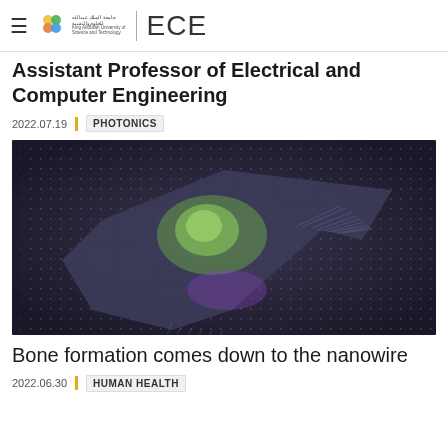ECE
Assistant Professor of Electrical and Computer Engineering
2022.07.19  PHOTONICS
[Figure (photo): Scientific illustration showing a star-shaped dark flat object (possibly a nanostructure or photonic device) resting on a dense array of nanowires arranged in a regular grid pattern. The background is dark purple-grey. A glowing green spot is visible near the center of the star shape.]
Bone formation comes down to the nanowire
2022.06.30  HUMAN HEALTH